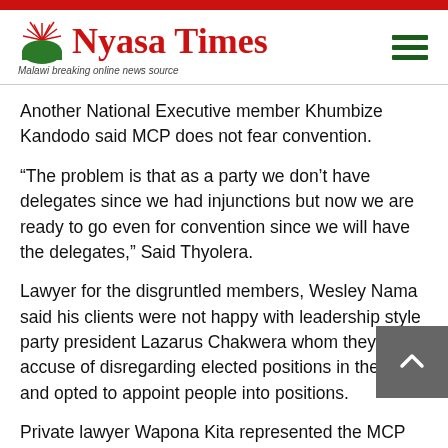Nyasa Times — Malawi breaking online news source
Another National Executive member Khumbize Kandodo said MCP does not fear convention.
“The problem is that as a party we don’t have delegates since we had injunctions but now we are ready to go even for convention since we will have the delegates,” Said Thyolera.
Lawyer for the disgruntled members, Wesley Nama said his clients were not happy with leadership style party president Lazarus Chakwera whom they accuse of disregarding elected positions in the party and opted to appoint people into positions.
Private lawyer Wapona Kita represented the MCP during the case.